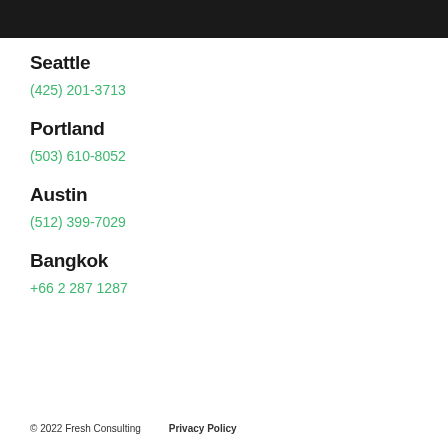Seattle
(425) 201-3713
Portland
(503) 610-8052
Austin
(512) 399-7029
Bangkok
+66 2 287 1287
© 2022 Fresh Consulting    Privacy Policy